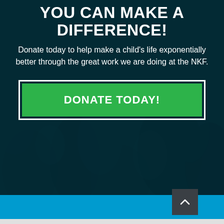YOU CAN MAKE A DIFFERENCE!
Donate today to help make a child's life exponentially better through the great work we are doing at the NKF.
[Figure (infographic): Green DONATE TODAY! button with white border on dark teal background with crowd photo overlay]